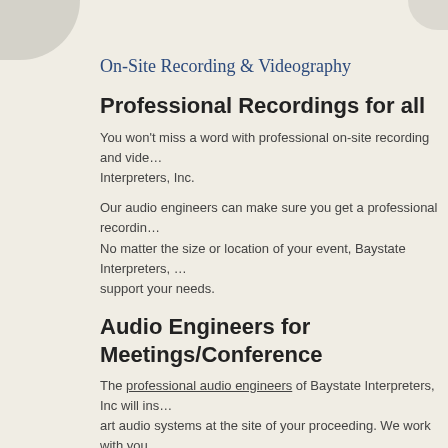On-Site Recording & Videography
Professional Recordings for all
You won't miss a word with professional on-site recording and vide... Interpreters, Inc.
Our audio engineers can make sure you get a professional recordin... No matter the size or location of your event, Baystate Interpreters, ... support your needs.
Audio Engineers for Meetings/Conference
The professional audio engineers of Baystate Interpreters, Inc will ins... art audio systems at the site of your proceeding. We work with you... reviews, to ensure a clear, professional recording.
Baystate Interpreters, Inc will record assemblies of any size, from s... conventions with multiple speakers, thousands of people and vast l... with translation, interpretation , voice-over and transcription service... needs and requirements.
No matter the size of the gathering, you can have professional on-s... presentations, conferences, focus groups, interviews, and most oth...